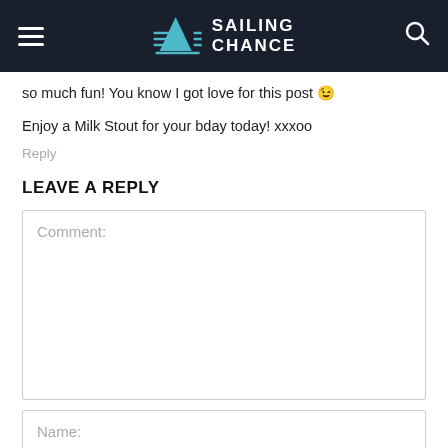Sailing Chance
so much fun! You know I got love for this post 😉
Enjoy a Milk Stout for your bday today! xxxoo
Reply
LEAVE A REPLY
Comment:
Name: